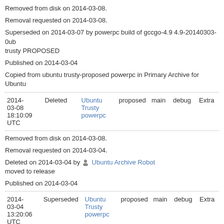Removed from disk on 2014-03-08.
Removal requested on 2014-03-08.
Superseded on 2014-03-07 by powerpc build of gccgo-4.9 4.9-20140303-0ub trusty PROPOSED
Published on 2014-03-04
Copied from ubuntu trusty-proposed powerpc in Primary Archive for Ubuntu
| Date | Status | Distro | Pocket | Component | Build Type | Priority |
| --- | --- | --- | --- | --- | --- | --- |
| 2014-03-08 18:10:09 UTC | Deleted | Ubuntu Trusty powerpc | proposed | main | debug | Extra |
Removed from disk on 2014-03-08.
Removal requested on 2014-03-04.
Deleted on 2014-03-04 by Ubuntu Archive Robot moved to release
Published on 2014-03-04
| Date | Status | Distro | Pocket | Component | Build Type | Priority |
| --- | --- | --- | --- | --- | --- | --- |
| 2014-03-04 13:20:06 UTC | Superseded | Ubuntu Trusty powerpc | proposed | main | debug | Extra |
Removed from disk on 2014-03-05.